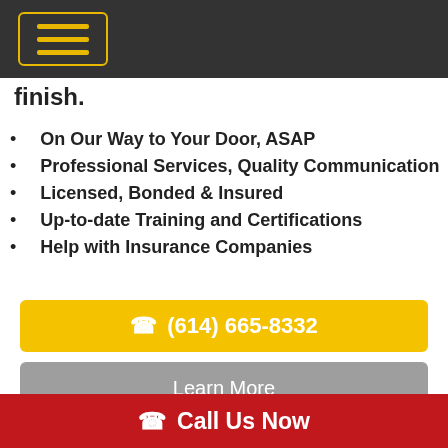finish.
On Our Way to Your Door, ASAP
Professional Services, Quality Communication
Licensed, Bonded & Insured
Up-to-date Training and Certifications
Help with Insurance Companies
(614) 665-8332
Learn More
[Figure (photo): Partially visible image at bottom of page]
Call Us Now